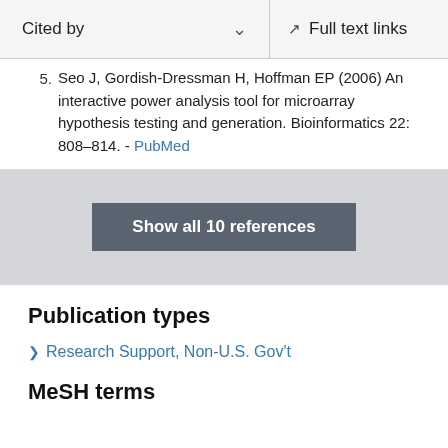Cited by   Full text links
5. Seo J, Gordish-Dressman H, Hoffman EP (2006) An interactive power analysis tool for microarray hypothesis testing and generation. Bioinformatics 22: 808–814. - PubMed
Show all 10 references
Publication types
Research Support, Non-U.S. Gov't
MeSH terms